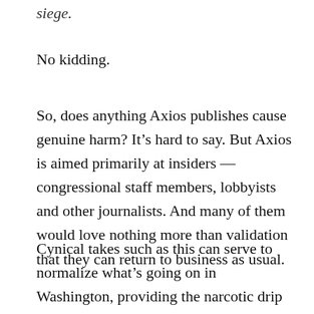siege.
No kidding.
So, does anything Axios publishes cause genuine harm? It’s hard to say. But Axios is aimed primarily at insiders — congressional staff members, lobbyists and other journalists. And many of them would love nothing more than validation that they can return to business as usual.
Cynical takes such as this can serve to normalize what’s going on in Washington, providing the narcotic drip we need to help us forget that many powerful Republicans attempted to overthrow the results of the election less than a month ago. Five people died, and we haven’t even begun to get to the bottom of what happened.